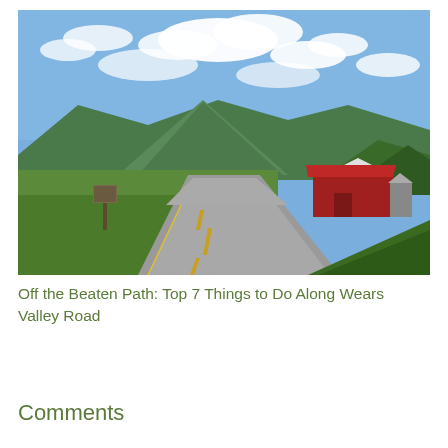[Figure (photo): A rural two-lane road stretching into the distance with green fields on either side, a large red barn on the right, a wooded hillside and a prominent mountain peak in the background under a partly cloudy blue sky.]
Off the Beaten Path: Top 7 Things to Do Along Wears Valley Road
Comments